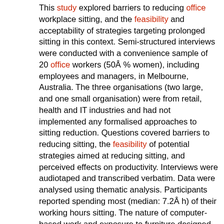This study explored barriers to reducing office workplace sitting, and the feasibility and acceptability of strategies targeting prolonged sitting in this context. Semi-structured interviews were conducted with a convenience sample of 20 office workers (50Â % women), including employees and managers, in Melbourne, Australia. The three organisations (two large, and one small organisation) were from retail, health and IT industries and had not implemented any formalised approaches to sitting reduction. Questions covered barriers to reducing sitting, the feasibility of potential strategies aimed at reducing sitting, and perceived effects on productivity. Interviews were audiotaped and transcribed verbatim. Data were analysed using thematic analysis. Participants reported spending most (median: 7.2Â h) of their working hours sitting. The nature of computer-based work and exposure to furniture designed for a seated posture were considered to be the main factors influencing sitting time. Low cost strategies, such as standing meetings and in-person communication, were identified as feasible ways to reduce sitting time and were also perceived to have potential productivity benefits. However, social norms around appropriate workplace behaviour and workload pressures were perceived to be barriers to uptake of these strategies. The cost implications of height-adjustable workstations influenced perceptions of